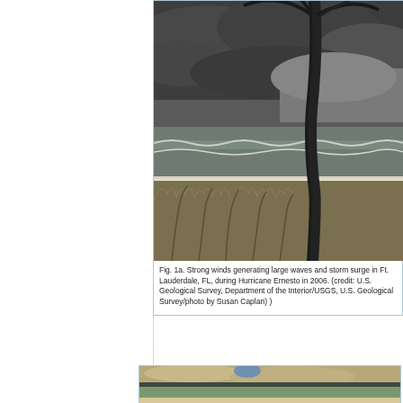[Figure (photo): Photograph of strong winds generating large waves and storm surge at Ft. Lauderdale, FL during Hurricane Ernesto in 2006. Shows palm trees bending in wind, sea oats, waves, and dark storm clouds.]
Fig. 1a. Strong winds generating large waves and storm surge in Ft. Lauderdale, FL, during Hurricane Ernesto in 2006. (credit: U.S. Geological Survey, Department of the Interior/USGS, U.S. Geological Survey/photo by Susan Caplan) )
[Figure (photo): Aerial photograph showing coastal erosion and storm damage with houses surrounded by eroded sand dunes and water, viewed from above.]